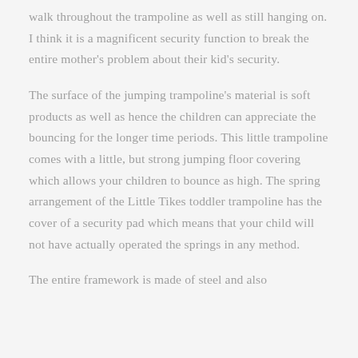walk throughout the trampoline as well as still hanging on. I think it is a magnificent security function to break the entire mother's problem about their kid's security.
The surface of the jumping trampoline's material is soft products as well as hence the children can appreciate the bouncing for the longer time periods. This little trampoline comes with a little, but strong jumping floor covering which allows your children to bounce as high. The spring arrangement of the Little Tikes toddler trampoline has the cover of a security pad which means that your child will not have actually operated the springs in any method.
The entire framework is made of steel and also